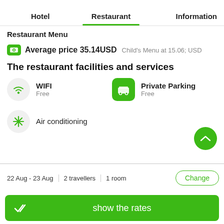Hotel    Restaurant    Information
Restaurant Menu
Average price 35.14USD   Child's Menu at 15.06; USD
The restaurant facilities and services
WIFI
Free
Private Parking
Free
Air conditioning
22 Aug - 23 Aug   2 travellers   1 room   Change
show the rates